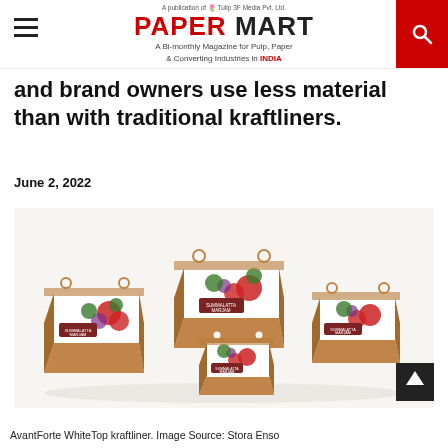PAPER MART — A Bi-monthly Magazine for Pulp, Paper & Converting Industries in INDIA
and brand owners use less material than with traditional kraftliners.
June 2, 2022
[Figure (photo): Four corrugated cardboard berry baskets decorated with strawberry and fruit imagery (AvantForte WhiteTop kraftliner), arranged on a white surface in different sizes.]
AvantForte WhiteTop kraftliner. Image Source: Stora Enso